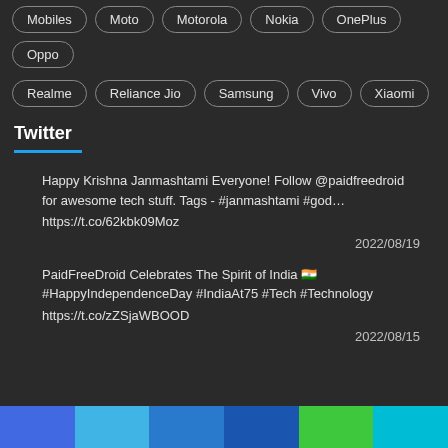Mobiles | Moto | Motorola | Nokia | OnePlus | Oppo
Realme | Reliance Jio | Samsung | Vivo | Xiaomi
Twitter
Happy Krishna Janmashtami Everyone! Follow @paidfreedroid for awesome tech stuff. Tags - #janmashtami #god… https://t.co/62kbk09Moz
2022/08/19
PaidFreeDroid Celebrates The Spirit of India 🇮🇳 #HappyIndependenceDay #IndiaAt75 #Tech #Technology https://t.co/zZSjaWBOOD
2022/08/15
[Figure (other): Colored footer bar with segments: blue, light blue, teal/blue, blue, green, cyan]